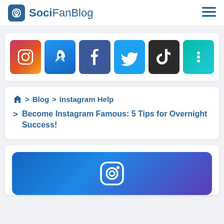SociFanBlog
[Figure (infographic): Row of six social media platform icon buttons: Instagram, Rocket/Boost, Facebook, Twitter, TikTok, More (three dots)]
🏠 > Blog > Instagram Help
> Become Instagram Famous: 5 Tips for Overnight Success!
[Figure (illustration): Blue gradient banner with Instagram camera icon, partially visible at bottom of page]